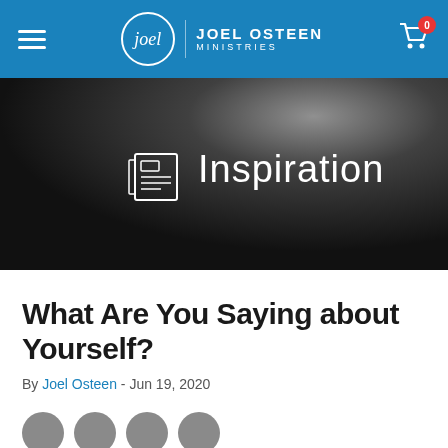Joel Osteen Ministries — navigation bar
[Figure (screenshot): Hero banner with dark gradient background showing a newspaper/article icon and the text 'Inspiration' in white]
What Are You Saying about Yourself?
By Joel Osteen - Jun 19, 2020